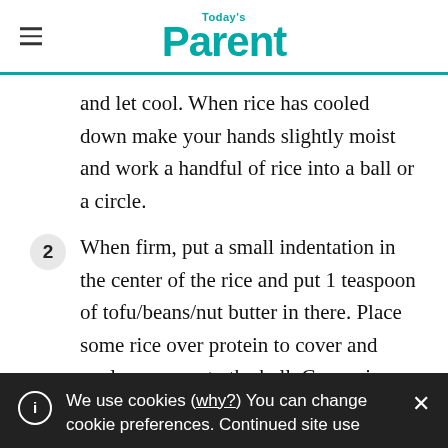Today's Parent
and let cool. When rice has cooled down make your hands slightly moist and work a handful of rice into a ball or a circle.
2  When firm, put a small indentation in the center of the rice and put 1 teaspoon of tofu/beans/nut butter in there. Place some rice over protein to cover and apply pressure to the ball. Cover rice
We use cookies (why?) You can change cookie preferences. Continued site use